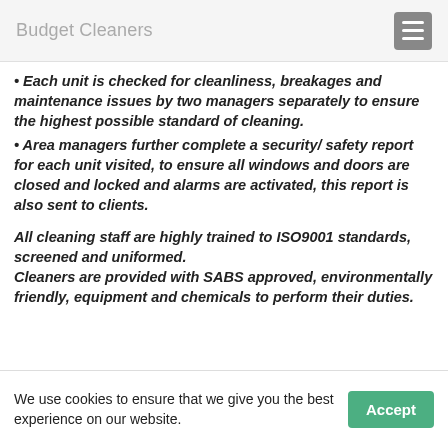Budget Cleaners
• Each unit is checked for cleanliness, breakages and maintenance issues by two managers separately to ensure the highest possible standard of cleaning.
• Area managers further complete a security/ safety report for each unit visited, to ensure all windows and doors are closed and locked and alarms are activated, this report is also sent to clients.
All cleaning staff are highly trained to ISO9001 standards, screened and uniformed.
Cleaners are provided with SABS approved, environmentally friendly, equipment and chemicals to perform their duties.
We use cookies to ensure that we give you the best experience on our website.